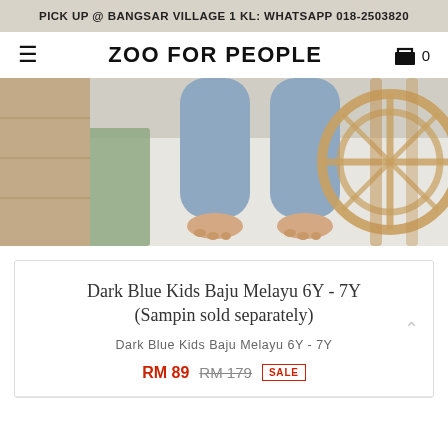PICK UP @ BANGSAR VILLAGE 1 KL: WHATSAPP 018-2503820
ZOO FOR PEOPLE
[Figure (photo): Close-up photo of a child's feet and lower legs in light blue/grey fabric pants, standing on a white rug, with wooden rattan furniture visible on the right side.]
Dark Blue Kids Baju Melayu 6Y - 7Y (Sampin sold separately)
Dark Blue Kids Baju Melayu 6Y - 7Y
RM 89  RM 179  SALE